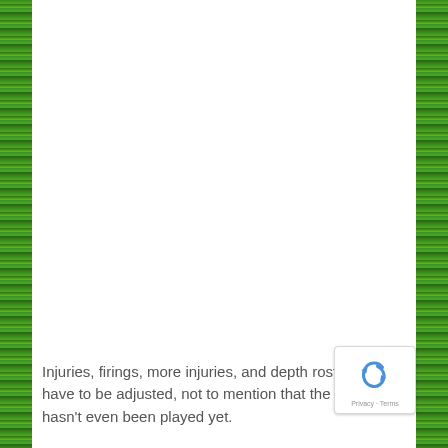[Figure (photo): Green grass/hedge border on left and right sides of the page, framing a white content area]
Injuries, firings, more injuries, and depth rosters still have to be adjusted, not to mention that the preseason hasn't even been played yet.